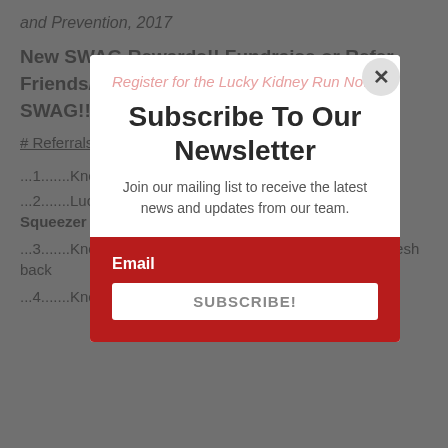and Prevention, 2017
New SWAG Rewards!! Fundraise or Refer Friends/Family to Register & Win Cool SWAG!!
# Referrals = SWAG Items Earned
...1.......Knox Shamrock Fest™ chenille patch
...2.......Lucky Kidney Run Squishy Shamrock Stress Squeezer
...3.......Knox Shamrock Fest™ Camo Trucker Hat with Mesh back
...4.......Knox Shamrock Fest™ embroidered duffle bag
[Figure (other): Subscribe To Our Newsletter modal popup with email input and Subscribe button over a background page about SWAG Rewards for Lucky Kidney Run fundraising event]
Subscribe To Our Newsletter
Join our mailing list to receive the latest news and updates from our team.
Email
SUBSCRIBE!
Register for the Lucky Kidney Run Now!